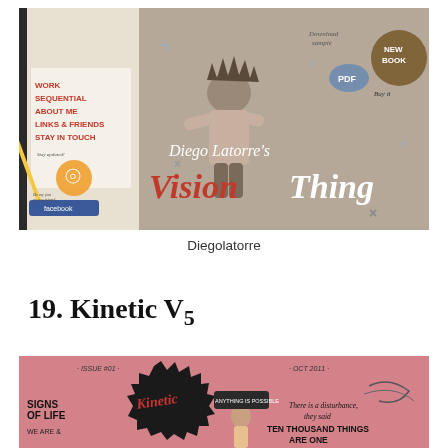[Figure (screenshot): Screenshot of Diego Latorre's Vision Thing website/blog header. Shows a notebook with navigation links (WORK, SEQUENTIAL, ABOUT ME, LINKS & FRIENDS, STAY IN TOUCH), an RSS icon, a Facebook button, a punk child figure in the center, plus/cross graphic elements, PDF label, 'Download Sample', 'Buy It', 'NEW BOOK' badge, and the text 'Diego Latorre's Vision Thing' in large stylized font.]
Diegolatorre
19. Kinetic V5
[Figure (screenshot): Screenshot of Kinetic magazine cover/website with pink/salmon background. Shows 'ISSUE #01' and 'OCT 2011' labels, a spiky black speech bubble with 'Kinetic' text, illustrated figures, and text including 'SIGNS OF LIFE', 'WE ARE &', 'TEN THOUSAND THINGS ARE ONE', 'There is a disturbance, they said', 'ANYTHING IS POSSIBLE' on a badge.]